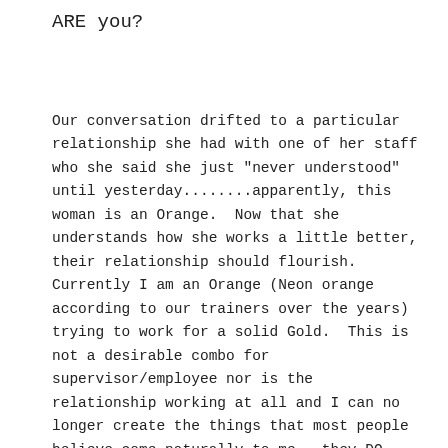ARE you?
Our conversation drifted to a particular relationship she had with one of her staff who she said she just "never understood" until yesterday........apparently, this woman is an Orange.  Now that she understands how she works a little better, their relationship should flourish.  Currently I am an Orange (Neon orange according to our trainers over the years) trying to work for a solid Gold.  This is not a desirable combo for supervisor/employee nor is the relationship working at all and I can no longer create the things that most people believe come naturally to me – they DO, but it has to be under the right circumstances.  For the first time in my adult life, I am failing at my job.  I can point to the reason but I cannot change the circumstances.  Spectrum or True Colors is a valuable